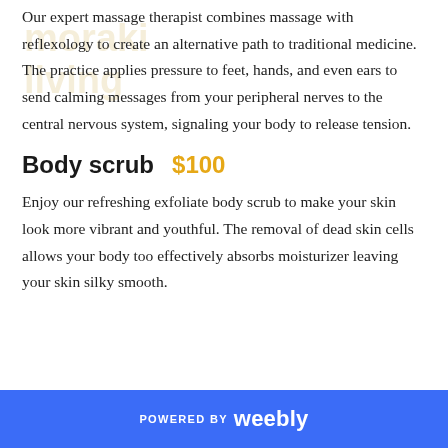Our expert massage therapist combines massage with reflexology to create an alternative path to traditional medicine. The practice applies pressure to feet, hands, and even ears to send calming messages from your peripheral nerves to the central nervous system, signaling your body to release tension.
Body scrub   $100
Enjoy our refreshing exfoliate body scrub to make your skin look more vibrant and youthful. The removal of dead skin cells allows your body too effectively absorbs moisturizer leaving your skin silky smooth.
POWERED BY weebly